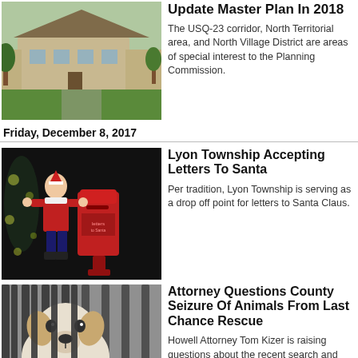[Figure (photo): Photo of a township building exterior with green lawn and trees]
Update Master Plan In 2018
The USQ-23 corridor, North Territorial area, and North Village District are areas of special interest to the Planning Commission.
Friday, December 8, 2017
[Figure (photo): Child standing next to a red Santa letter mailbox with Christmas decorations]
Lyon Township Accepting Letters To Santa
Per tradition, Lyon Township is serving as a drop off point for letters to Santa Claus.
[Figure (photo): Dog behind bars/cage at an animal shelter]
Attorney Questions County Seizure Of Animals From Last Chance Rescue
Howell Attorney Tom Kizer is raising questions about the recent search and